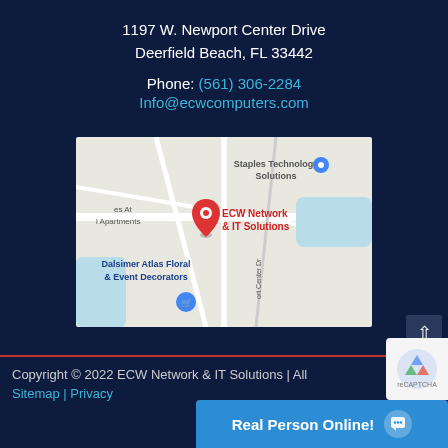1197 W. Newport Center Drive
Deerfield Beach, FL 33442
Phone: (561) 306-2284
Info@ecwcomputers.com
[Figure (map): Google Maps screenshot showing the location of ECW Network & IT Solutions at 1197 W. Newport Center Drive, Deerfield Beach, FL. Nearby labels include Staples Technology Solutions, Dalsimer Atlas Floral & Event Decorators, and Apartments.]
Copyright © 2022 ECW Network & IT Solutions | All
Sitemap | Privacy
Real Person Online!